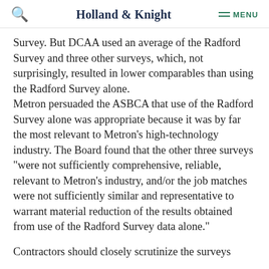Holland & Knight  MENU
Survey. But DCAA used an average of the Radford Survey and three other surveys, which, not surprisingly, resulted in lower comparables than using the Radford Survey alone. Metron persuaded the ASBCA that use of the Radford Survey alone was appropriate because it was by far the most relevant to Metron's high-technology industry. The Board found that the other three surveys "were not sufficiently comprehensive, reliable, relevant to Metron's industry, and/or the job matches were not sufficiently similar and representative to warrant material reduction of the results obtained from use of the Radford Survey data alone."
Contractors should closely scrutinize the surveys